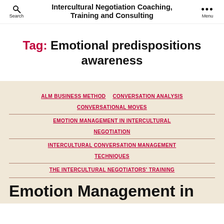Intercultural Negotiation Coaching, Training and Consulting
Tag: Emotional predispositions awareness
ALM BUSINESS METHOD
CONVERSATION ANALYSIS
CONVERSATIONAL MOVES
EMOTION MANAGEMENT IN INTERCULTURAL NEGOTIATION
INTERCULTURAL CONVERSATION MANAGEMENT TECHNIQUES
THE INTERCULTURAL NEGOTIATORS' TRAINING
Emotion Management in